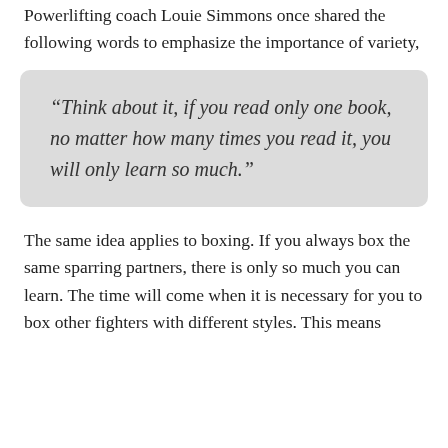Powerlifting coach Louie Simmons once shared the following words to emphasize the importance of variety,
“Think about it, if you read only one book, no matter how many times you read it, you will only learn so much.”
The same idea applies to boxing. If you always box the same sparring partners, there is only so much you can learn. The time will come when it is necessary for you to box other fighters with different styles. This means